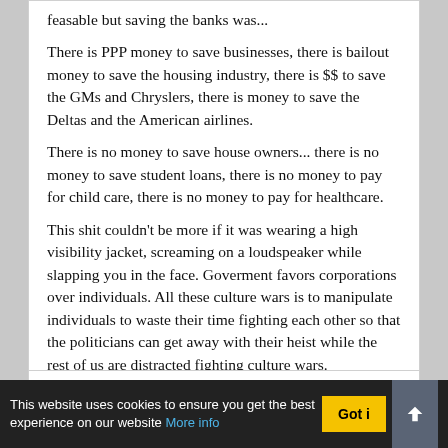feasable but saving the banks was...
There is PPP money to save businesses, there is bailout money to save the housing industry, there is $$ to save the GMs and Chryslers, there is money to save the Deltas and the American airlines.
There is no money to save house owners... there is no money to save student loans, there is no money to pay for child care, there is no money to pay for healthcare.
This shit couldn't be more if it was wearing a high visibility jacket, screaming on a loudspeaker while slapping you in the face. Goverment favors corporations over individuals. All these culture wars is to manipulate individuals to waste their time fighting each other so that the politicians can get away with their heist while the rest of us are distracted fighting culture wars.
[Figure (other): Share icons: Facebook, Twitter, Reddit, WhatsApp]
This website uses cookies to ensure you get the best experience on our website More info | Got it